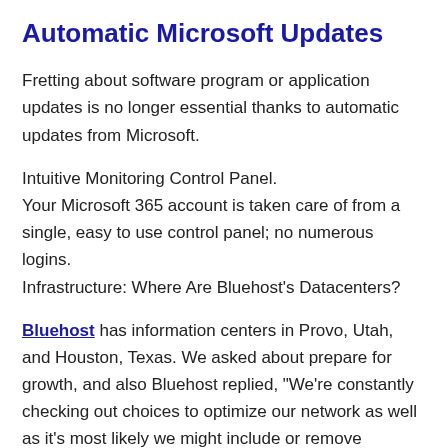Automatic Microsoft Updates
Fretting about software program or application updates is no longer essential thanks to automatic updates from Microsoft.
Intuitive Monitoring Control Panel.
Your Microsoft 365 account is taken care of from a single, easy to use control panel; no numerous logins.
Infrastructure: Where Are Bluehost’s Datacenters?
Bluehost has information centers in Provo, Utah, and Houston, Texas. We asked about prepare for growth, and also Bluehost replied, “We’re constantly checking out choices to optimize our network as well as it’s most likely we might include or remove information centers in the future.”.
Remember that if you utilize the Cloudflare CDN, that gives you access to Cloudflare’s network of information centers around the